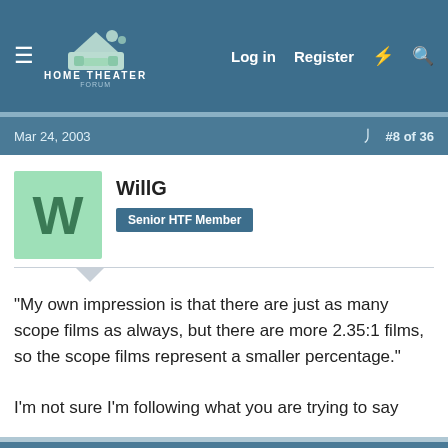HOME THEATER FORUM — Log in | Register
Mar 24, 2003  #8 of 36
WillG
Senior HTF Member
"My own impression is that there are just as many scope films as always, but there are more 2.35:1 films, so the scope films represent a smaller percentage."

I'm not sure I'm following what you are trying to say
Mar 24, 2003  #9 of 36
Edwin-S
Premium  Senior HTF Member